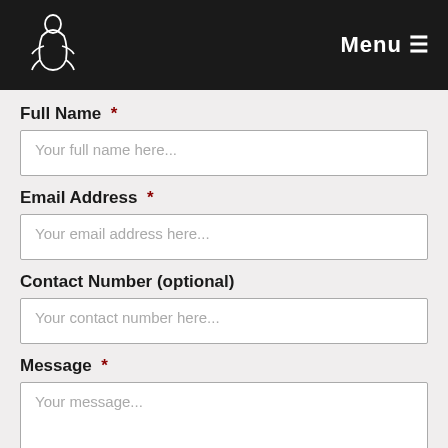Menu ☰
Full Name  *
Your full name here...
Email Address  *
Your email address here...
Contact Number (optional)
Your contact number here...
Message  *
Your message...